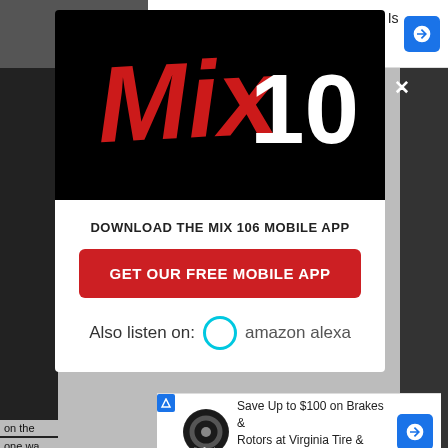[Figure (screenshot): Top advertisement banner for Petco: 'Your Pet's Summer Gear Is Here' with Petco logo and blue arrow icon]
[Figure (logo): Mix 106 radio station logo on black background — stylized red 'Mix' lettering with white '106' numeral]
DOWNLOAD THE MIX 106 MOBILE APP
GET OUR FREE MOBILE APP
Also listen on: amazon alexa
[Figure (screenshot): Bottom advertisement banner: 'Save Up to $100 on Brakes & Rotors at Virginia Tire & Auto' with tire logo and blue arrow icon]